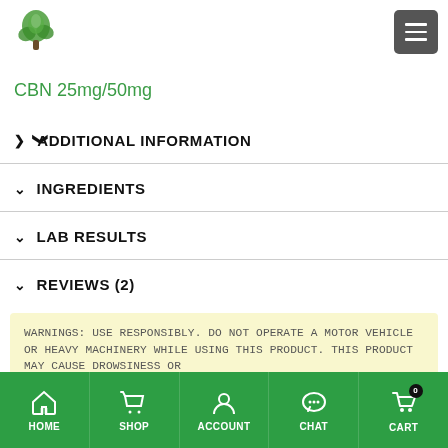CBN 25mg/50mg
ADDITIONAL INFORMATION
INGREDIENTS
LAB RESULTS
REVIEWS (2)
WARNINGS: USE RESPONSIBLY. DO NOT OPERATE A MOTOR VEHICLE OR HEAVY MACHINERY WHILE USING THIS PRODUCT. THIS PRODUCT MAY CAUSE DROWSINESS OR
HOME  SHOP  ACCOUNT  CHAT  CART